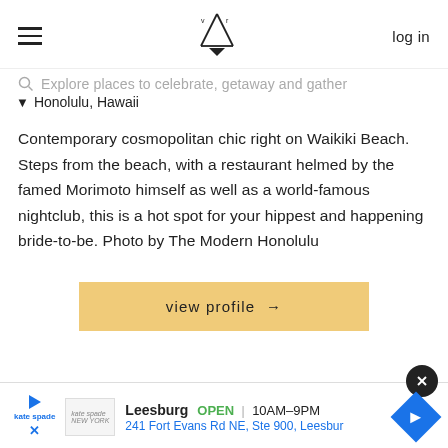log in
Explore places to celebrate, getaway and gather
♥ Honolulu, Hawaii
Contemporary cosmopolitan chic right on Waikiki Beach. Steps from the beach, with a restaurant helmed by the famed Morimoto himself as well as a world-famous nightclub, this is a hot spot for your hippest and happening bride-to-be. Photo by The Modern Honolulu
view profile →
[Figure (screenshot): Advertisement banner: Kate Spade store in Leesburg, OPEN 10AM-9PM, 241 Fort Evans Rd NE, Ste 900, Leesbur]